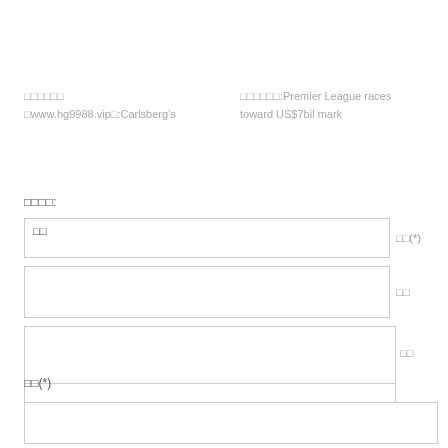□□□□□□ □www.hg9988.vip□:Carlsberg's
□□□□□□:Premier League races toward US$7bil mark
□□□□:
| □□ | □□(*) |
|  | □□ |
|  | □□ |
|  | □□□(*) |
□□(*)